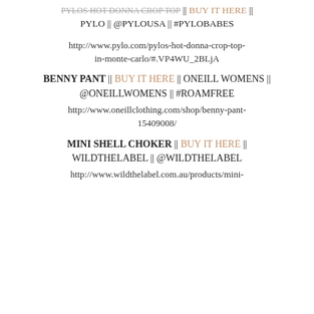PYLOS HOT DONNA CROP TOP || BUY IT HERE || PYLO || @PYLOUSA || #PYLOBABES
http://www.pylo.com/pylos-hot-donna-crop-top-in-monte-carlo/#.VP4WU_2BLjA
BENNY PANT || BUY IT HERE || ONEILL WOMENS || @ONEILLWOMENS || #ROAMFREE
http://www.oneillclothing.com/shop/benny-pant-15409008/
MINI SHELL CHOKER || BUY IT HERE || WILDTHELABEL || @WILDTHELABEL
http://www.wildthelabel.com.au/products/mini-